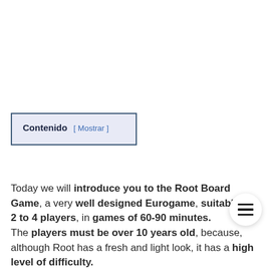Contenido [ Mostrar ]
Today we will introduce you to the Root Board Game, a very well designed Eurogame, suitable for 2 to 4 players, in games of 60-90 minutes. The players must be over 10 years old, because, although Root has a fresh and light look, it has a high level of difficulty.